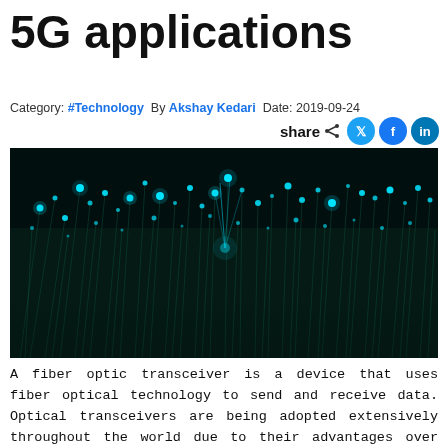5G applications
Category: #Technology  By Akshay Kedari  Date: 2019-09-24  share
[Figure (photo): Fiber optic cables with glowing cyan light tips on dark background]
A fiber optic transceiver is a device that uses fiber optical technology to send and receive data. Optical transceivers are being adopted extensively throughout the world due to their advantages over traditional transmission systems. Various companies across the world are working on the development as well as sale of optical fiber transceivers, owing to their growing demand in